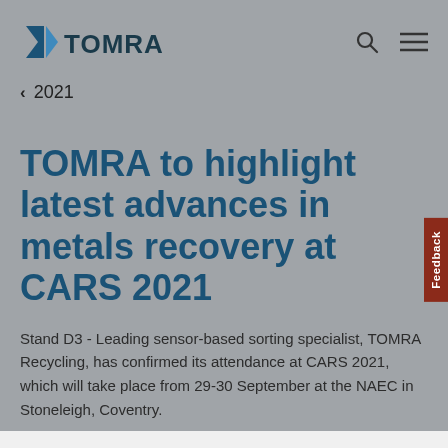[Figure (logo): TOMRA logo with stylized arrow/leaf icon in dark teal/blue and the word TOMRA in bold dark text]
< 2021
TOMRA to highlight latest advances in metals recovery at CARS 2021
Stand D3 - Leading sensor-based sorting specialist, TOMRA Recycling, has confirmed its attendance at CARS 2021, which will take place from 29-30 September at the NAEC in Stoneleigh, Coventry.